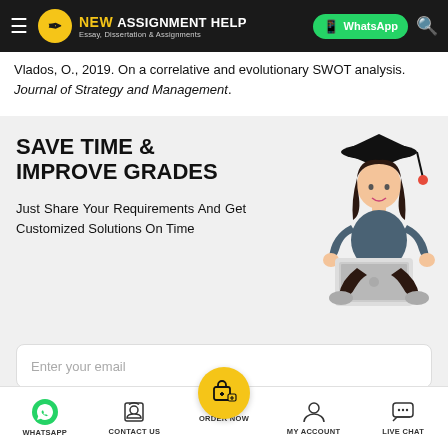NEW ASSIGNMENT HELP — Essay, Dissertation & Assignments | WhatsApp
Vlados, O., 2019. On a correlative and evolutionary SWOT analysis. Journal of Strategy and Management.
[Figure (infographic): Promotional banner with illustration of student wearing graduation cap sitting cross-legged with laptop. Text: SAVE TIME & IMPROVE GRADES. Just Share Your Requirements And Get Customized Solutions On Time. Email input field and mobile number input field.]
WHATSAPP | CONTACT US | ORDER NOW | MY ACCOUNT | LIVE CHAT